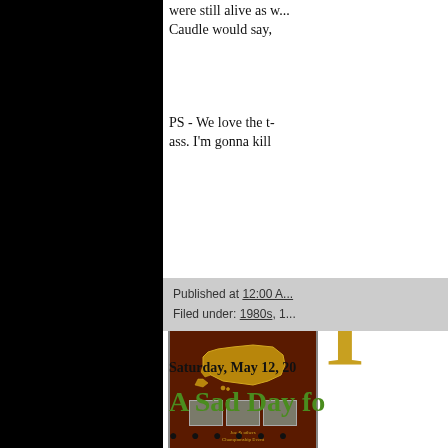were still alive as w... Caudle would say,
PS - We love the t-... ass. I'm gonna kill
[Figure (other): Book or event poster for 'Joe Caudle Presents United States Championship' showing a map of the United States in gold on dark brown background with photos at the bottom, partially cropped. A large gold letter T is visible to the right.]
Published at 12:00 A...
Filed under: 1980s, 1...
Saturday, May 12, 20
A Sad Day fo
● ● ● ● ● ●